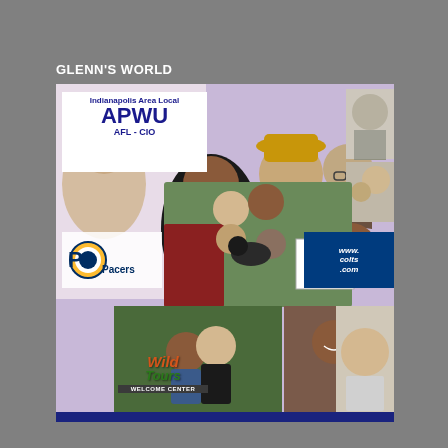GLENN'S WORLD
[Figure (photo): A personal photo collage titled Glenn's World featuring multiple photos of family and friends, logos for Indianapolis Area Local APWU AFL-CIO, Indiana Pacers, www.colts.com, Wild Tours Welcome Center, and a Workers Rights Are Human Rights sign.]